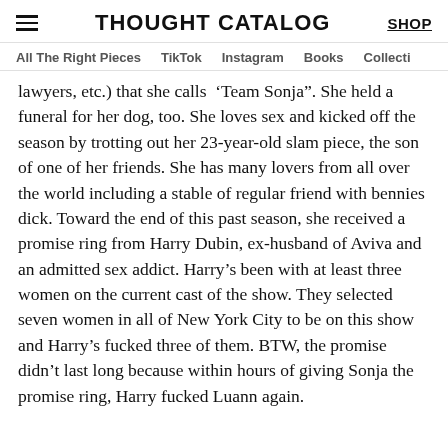THOUGHT CATALOG
All The Right Pieces   TikTok   Instagram   Books   Collecti
lawyers, etc.) that she calls ‘Team Sonja”. She held a funeral for her dog, too. She loves sex and kicked off the season by trotting out her 23-year-old slam piece, the son of one of her friends. She has many lovers from all over the world including a stable of regular friend with bennies dick. Toward the end of this past season, she received a promise ring from Harry Dubin, ex-husband of Aviva and an admitted sex addict. Harry’s been with at least three women on the current cast of the show. They selected seven women in all of New York City to be on this show and Harry’s fucked three of them. BTW, the promise didn’t last long because within hours of giving Sonja the promise ring, Harry fucked Luann again.